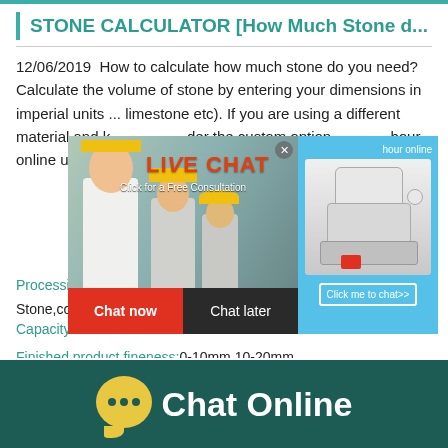STONE CALCULATOR [How Much Stone d...
12/06/2019  How to calculate how much stone do you need? Calculate the volume of stone by entering your dimensions in imperial units ... limestone etc). If you are using a different material and k... der the custom option... hour online unit mass (e.g... cubic feet) yo...
[Figure (screenshot): Live chat popup overlay with photo of workers in hard hats, LIVE CHAT text in red, 'Click for a Free Consultation' subtitle, Chat now (red) and Chat later (dark) buttons, and a right panel showing a mining machine with 'Click me to chat>>' button]
Processingmaterial:Bentonite,construction w... Stone,coal
Capacity:182T/H
Finished product fineness:0-10mm,10-20mm...
Chat Online